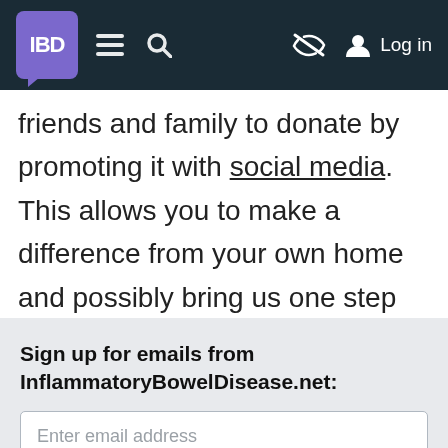IBD navigation bar with logo, menu, search, eye-slash icon, and Log in
friends and family to donate by promoting it with social media. This allows you to make a difference from your own home and possibly bring us one step closer to a cure.
Sign up for emails from InflammatoryBowelDisease.net:
Enter email address
Subscribe